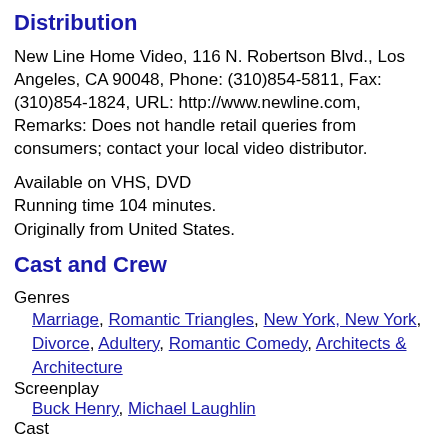Distribution
New Line Home Video, 116 N. Robertson Blvd., Los Angeles, CA 90048, Phone: (310)854-5811, Fax: (310)854-1824, URL: http://www.newline.com, Remarks: Does not handle retail queries from consumers; contact your local video distributor.
Available on VHS, DVD
Running time 104 minutes.
Originally from United States.
Cast and Crew
Genres
  Marriage, Romantic Triangles, New York, New York, Divorce, Adultery, Romantic Comedy, Architects & Architecture
Screenplay
  Buck Henry, Michael Laughlin
Cast